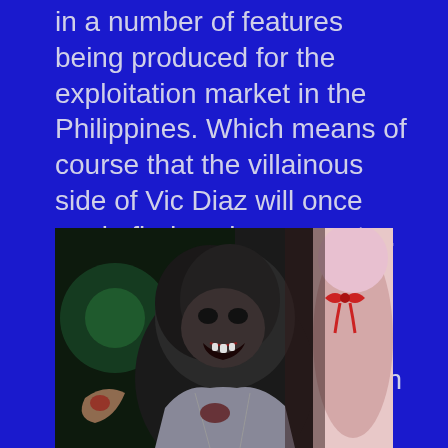in a number of features being produced for the exploitation market in the Philippines. Which means of course that the villainous side of Vic Diaz will once again find work as an actor. Ashley serves as both a producer this time out and plays the title role which looks to be a cross between a Werewolf and the Green Gargantua. Either way, Ashley is totally unrecognizable under the silly putty.
[Figure (photo): A werewolf/monster creature with dark fur and dark skin makeup, open mouth showing teeth, facing right. Another figure with pink/light colored hair or fabric is partially visible on the right side.]